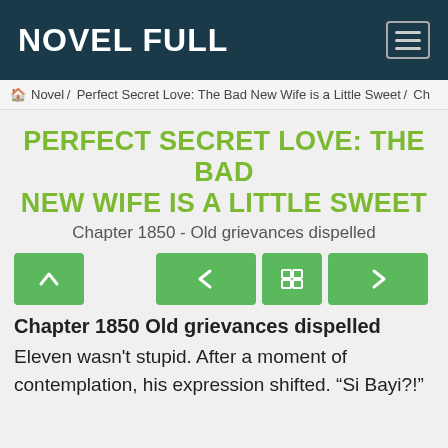NOVEL FULL
Novel / Perfect Secret Love: The Bad New Wife is a Little Sweet / Ch
PERFECT SECRET LOVE: THE BAD NEW WIFE IS A LITTLE SWEET
Chapter 1850 - Old grievances dispelled
[Figure (screenshot): Navigation buttons row: up arrow button (green), previous chapter button (green, left arrow), chapter list button (green, grid icon), next chapter button (green, right arrow)]
Chapter 1850 Old grievances dispelled
Eleven wasn't stupid. After a moment of contemplation, his expression shifted. “Si Bayi?!”